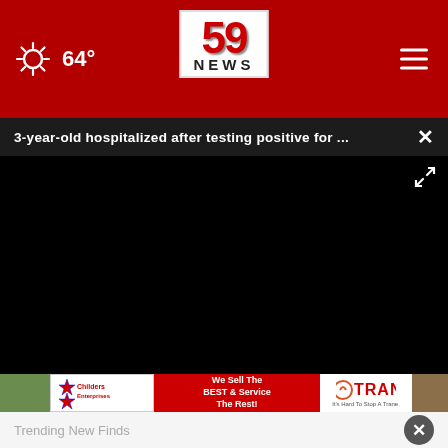64°
[Figure (logo): 59 NEWS logo in white box on red header]
3-year-old hospitalized after testing positive for ...
[Figure (screenshot): Black video player area with play and mute controls]
Trending New Finds
[Figure (photo): Childers Enterprises and Trane advertisement banner - We Sell The BEST & Service The Rest!]